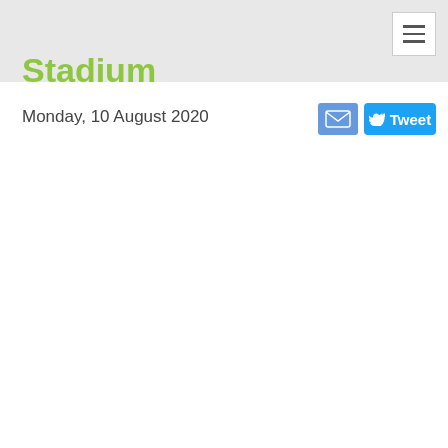Stadium
Monday, 10 August 2020